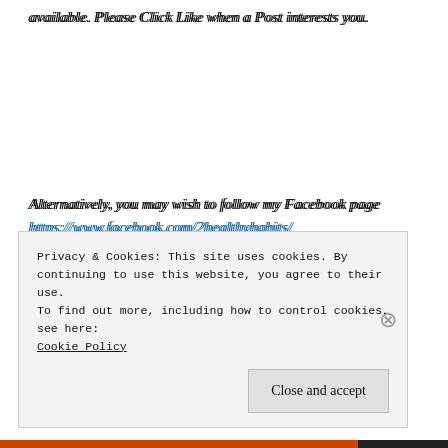available. Please Click Like when a Post interests you.
Alternatively, you may wish to follow my Facebook page https://www.facebook.com/2healthyhabits/ or follow on Twitter @LPolstra
Privacy & Cookies: This site uses cookies. By continuing to use this website, you agree to their use.
To find out more, including how to control cookies, see here:
Cookie Policy